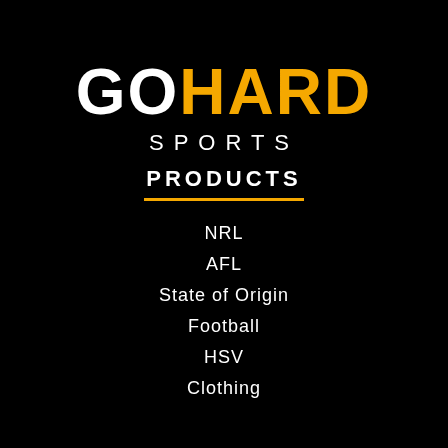GO HARD SPORTS PRODUCTS
NRL
AFL
State of Origin
Football
HSV
Clothing